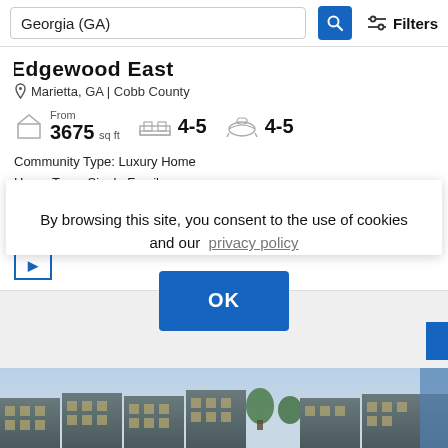Georgia (GA)
Edgewood East
Marietta, GA | Cobb County
From 3675 sq ft   4-5   4-5
Community Type: Luxury Home
Home Type: Single Family
Priced From
$91
By browsing this site, you consent to the use of cookies and our privacy policy
[Figure (photo): Exterior photo of modern townhomes/residential buildings with sky background]